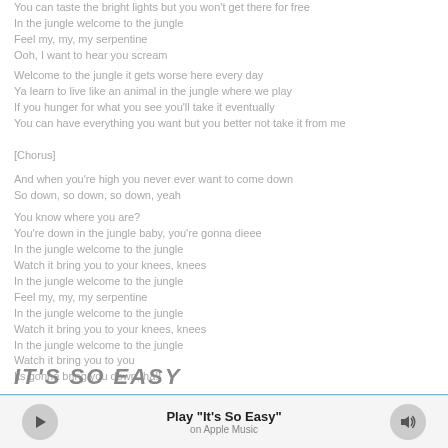You can taste the bright lights but you won't get there for free
In the jungle welcome to the jungle
Feel my, my, my serpentine
Ooh, I want to hear you scream
Welcome to the jungle it gets worse here every day
Ya learn to live like an animal in the jungle where we play
If you hunger for what you see you'll take it eventually
You can have everything you want but you better not take it from me
[Chorus]
And when you're high you never ever want to come down
So down, so down, so down, yeah
You know where you are?
You're down in the jungle baby, you're gonna dieee
In the jungle welcome to the jungle
Watch it bring you to your knees, knees
In the jungle welcome to the jungle
Feel my, my, my serpentine
In the jungle welcome to the jungle
Watch it bring you to your knees, knees
In the jungle welcome to the jungle
Watch it bring you to you
Its gonna bring you down, ha!!
IT'S SO EASY
Play "It's So Easy"
on Apple Music